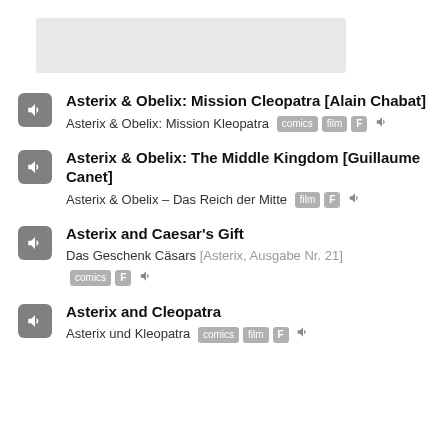[Figure (other): Gray placeholder image at top of page]
Asterix & Obelix: Mission Cleopatra [Alain Chabat]
Asterix & Obelix: Mission Kleopatra [comics] [film] [F] [speaker]
Asterix & Obelix: The Middle Kingdom [Guillaume Canet]
Asterix & Obelix – Das Reich der Mitte [film] [F] [speaker]
Asterix and Caesar's Gift
Das Geschenk Cäsars [Asterix, Ausgabe Nr. 21] [comics] [F] [speaker]
Asterix and Cleopatra
Asterix und Kleopatra [comics] [film] [F] [speaker]